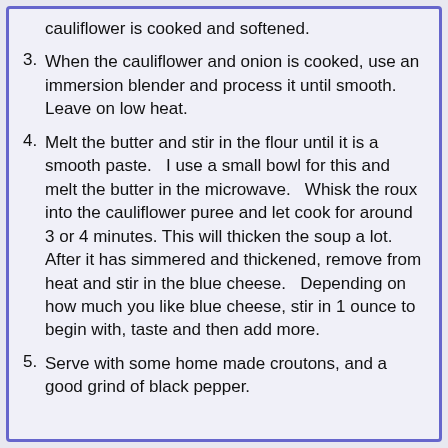(partial) cauliflower is cooked and softened.
3. When the cauliflower and onion is cooked, use an immersion blender and process it until smooth.  Leave on low heat.
4. Melt the butter and stir in the flour until it is a smooth paste.   I use a small bowl for this and melt the butter in the microwave.   Whisk the roux into the cauliflower puree and let cook for around 3 or 4 minutes. This will thicken the soup a lot.  After it has simmered and thickened, remove from heat and stir in the blue cheese.   Depending on how much you like blue cheese, stir in 1 ounce to begin with, taste and then add more.
5. Serve with some home made croutons, and a good grind of black pepper.